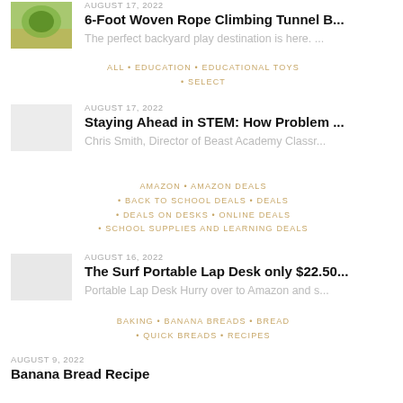[Figure (photo): Thumbnail image of a woven rope climbing tunnel outdoors]
AUGUST 17, 2022
6-Foot Woven Rope Climbing Tunnel B...
The perfect backyard play destination is here. ...
ALL • EDUCATION • EDUCATIONAL TOYS • SELECT
[Figure (photo): Thumbnail placeholder for STEM article]
AUGUST 17, 2022
Staying Ahead in STEM: How Problem ...
Chris Smith, Director of Beast Academy Classr...
AMAZON • AMAZON DEALS • BACK TO SCHOOL DEALS • DEALS • DEALS ON DESKS • ONLINE DEALS • SCHOOL SUPPLIES AND LEARNING DEALS
[Figure (photo): Thumbnail placeholder for Lap Desk article]
AUGUST 16, 2022
The Surf Portable Lap Desk only $22.50...
Portable Lap Desk Hurry over to Amazon and s...
BAKING • BANANA BREADS • BREAD • QUICK BREADS • RECIPES
AUGUST 9, 2022
Banana Bread Recipe